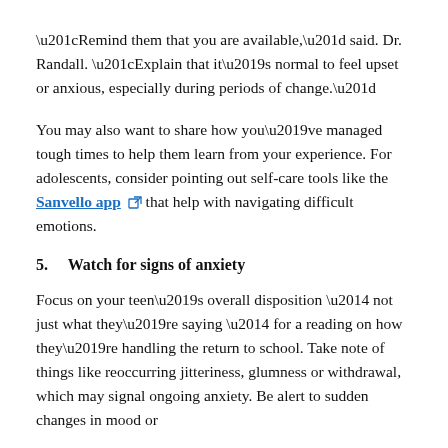“Remind them that you are available,” said. Dr. Randall. “Explain that it’s normal to feel upset or anxious, especially during periods of change.”
You may also want to share how you’ve managed tough times to help them learn from your experience. For adolescents, consider pointing out self-care tools like the Sanvello app that help with navigating difficult emotions.
5.    Watch for signs of anxiety
Focus on your teen’s overall disposition — not just what they’re saying — for a reading on how they’re handling the return to school. Take note of things like reoccurring jitteriness, glumness or withdrawal, which may signal ongoing anxiety. Be alert to sudden changes in mood or